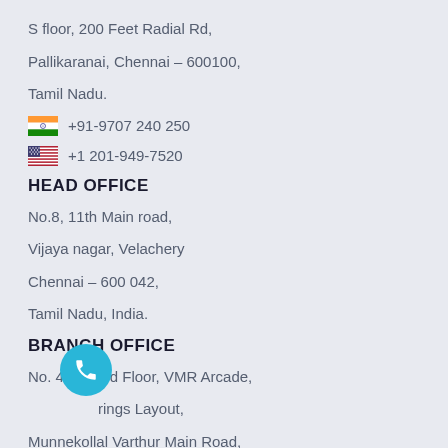S floor, 200 Feet Radial Rd,
Pallikaranai, Chennai – 600100,
Tamil Nadu.
+91-9707 240 250
+1 201-949-7520
HEAD OFFICE
No.8, 11th Main road,
Vijaya nagar, Velachery
Chennai – 600 042,
Tamil Nadu, India.
BRANCH OFFICE
No. 43/2, 2nd Floor, VMR Arcade,
Sil... rings Layout,
Munnekollal Varthur Main Road,